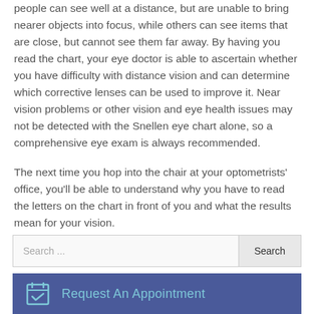people can see well at a distance, but are unable to bring nearer objects into focus, while others can see items that are close, but cannot see them far away. By having you read the chart, your eye doctor is able to ascertain whether you have difficulty with distance vision and can determine which corrective lenses can be used to improve it. Near vision problems or other vision and eye health issues may not be detected with the Snellen eye chart alone, so a comprehensive eye exam is always recommended.
The next time you hop into the chair at your optometrists' office, you'll be able to understand why you have to read the letters on the chart in front of you and what the results mean for your vision.
Search ...
Request An Appointment